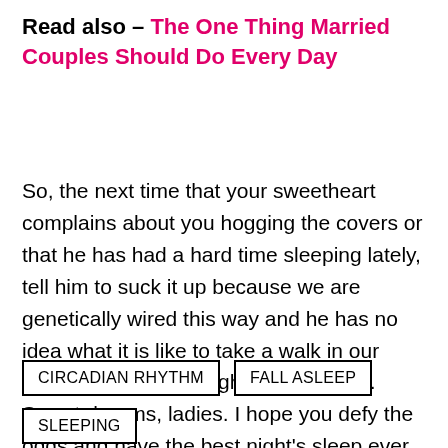Read also – The One Thing Married Couples Should Do Every Day
So, the next time that your sweetheart complains about you hogging the covers or that he has had a hard time sleeping lately, tell him to suck it up because we are genetically wired this way and he has no idea what it is like to take a walk in our shoes. Or rather, a night on our pillow. Sweet dreams, ladies. I hope you defy the odds and have the best night's sleep ever.
CIRCADIAN RHYTHM
FALL ASLEEP
SLEEPING